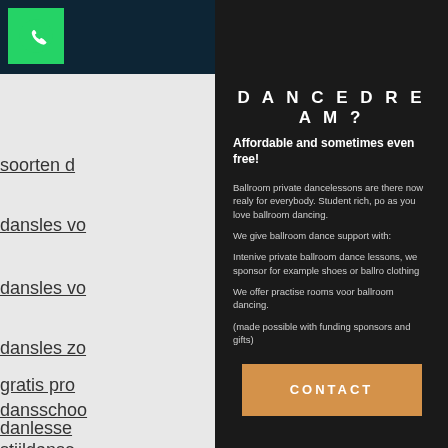[Figure (screenshot): WhatsApp green icon top left corner]
slesse
soorten d
dansles vo
dansles vo
dansles zo
gratis pro
dansschoo
danlesse
stijldanse
D A N C E D R E A M ?
Affordable and sometimes even free!
Ballroom private dancelessons are there now realy for everybody. Student rich, po as you love ballroom dancing.
We give ballroom dance support with:
Intenive private ballroom dance lessons, we sponsor for example shoes or ballro clothing
We offer practise rooms voor ballroom dancing.
(made possible with funding sponsors and gifts)
CONTACT